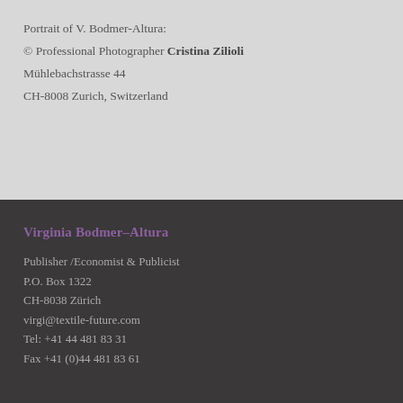Portrait of V. Bodmer-Altura:
© Professional Photographer Cristina Zilioli
Mühlebachstrasse 44
CH-8008 Zurich, Switzerland
Virginia Bodmer–Altura
Publisher /Economist & Publicist
P.O. Box 1322
CH-8038 Zürich
virgi@textile-future.com
Tel: +41 44 481 83 31
Fax +41 (0)44 481 83 61